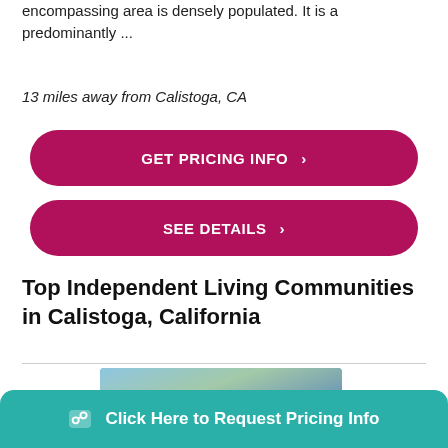encompassing area is densely populated. It is a predominantly ...
13 miles away from Calistoga, CA
GET PRICING INFO ›
SEE DETAILS ›
Top Independent Living Communities in Calistoga, California
[Figure (photo): Photo of a house exterior with dark roof, white siding, and trees in background]
Click Here to Request Pricing Info